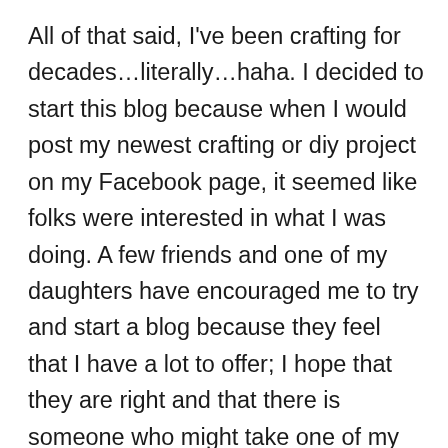All of that said, I've been crafting for decades…literally…haha. I decided to start this blog because when I would post my newest crafting or diy project on my Facebook page, it seemed like folks were interested in what I was doing. A few friends and one of my daughters have encouraged me to try and start a blog because they feel that I have a lot to offer; I hope that they are right and that there is someone who might take one of my ideas and utilize it in their home.  I have no formal education in interior design, but I love to create warm cozy spaces and I love to decorate my home in a welcoming manner. I make wreaths and centerpieces among